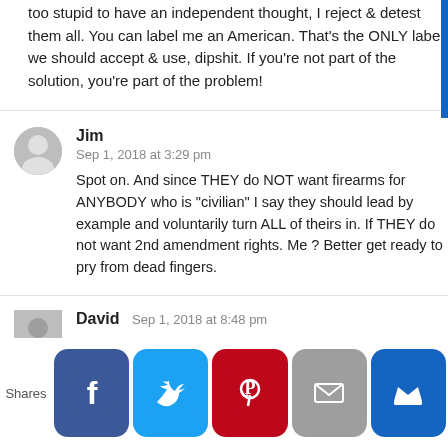too stupid to have an independent thought, I reject & detest them all. You can label me an American. That's the ONLY label we should accept & use, dipshit. If you're not part of the solution, you're part of the problem!
Jim
Sep 1, 2018 at 3:29 pm
Spot on. And since THEY do NOT want firearms for ANYBODY who is "civilian" I say they should lead by example and voluntarily turn ALL of theirs in. If THEY do not want 2nd amendment rights. Me ? Better get ready to pry from dead fingers.
David Sep 1, 2018 at 8:48 pm
[Figure (infographic): Social share bar with Facebook, Twitter, Pinterest, Email, and MeWe buttons, with a 'Shares' label on the left]